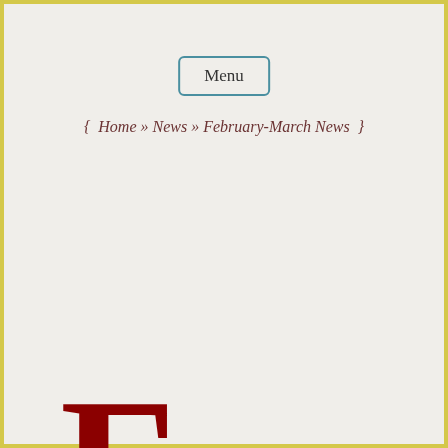Menu
{ Home » News » February-March News }
February–March News